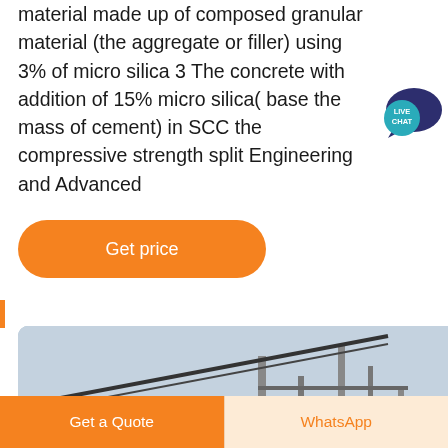material made up of composed granular material (the aggregate or filler) using 3% of micro silica 3 The concrete with addition of 15% micro silica( base the mass of cement) in SCC the compressive strength split Engineering and Advanced
[Figure (illustration): Live Chat speech bubble icon in teal/blue color with white text 'LIVE CHAT']
[Figure (other): Orange rounded-rectangle 'Get price' button]
[Figure (photo): Industrial machinery/conveyor belt photograph with grey/blue sky background, showing metal structures and conveyor lines]
[Figure (other): Dark circular scroll-up arrow button]
[Figure (other): Bottom action bar with orange 'Get a Quote' button on left and light orange 'WhatsApp' button on right]